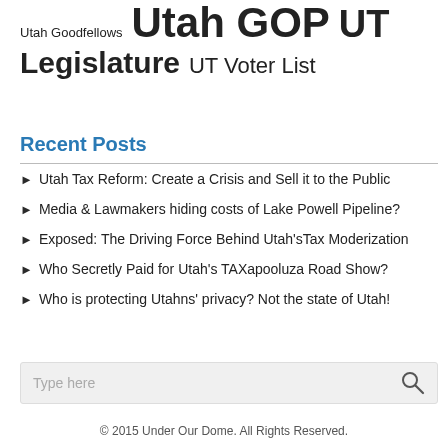Utah Goodfellows  Utah GOP  UT Legislature  UT Voter List
Recent Posts
Utah Tax Reform: Create a Crisis and Sell it to the Public
Media & Lawmakers hiding costs of Lake Powell Pipeline?
Exposed: The Driving Force Behind Utah's Tax Moderization
Who Secretly Paid for Utah's TAXapooluza Road Show?
Who is protecting Utahns' privacy? Not the state of Utah!
© 2015 Under Our Dome. All Rights Reserved.